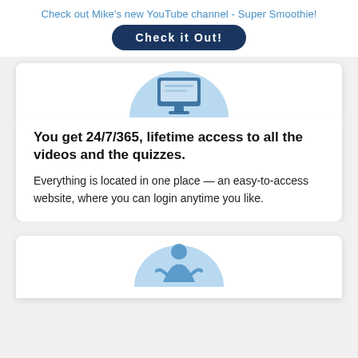Check out Mike's new YouTube channel - Super Smoothie!
Check it Out!
[Figure (illustration): Light blue semicircle with a dark blue monitor/screen icon at the top of the card]
You get 24/7/365, lifetime access to all the videos and the quizzes. Everything is located in one place — an easy-to-access website, where you can login anytime you like.
[Figure (illustration): Light blue semicircle with a person/figure icon, partially visible at bottom of page]